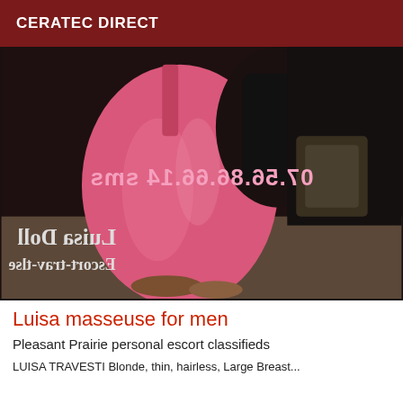CERATEC DIRECT
[Figure (photo): A person wearing a pink dress, photo shown with mirrored overlay text showing a phone number and name. The image appears horizontally flipped with text: '07.56.86.66.14 sms' and 'Luisa Doll Escort-trav-tlse']
Luisa masseuse for men
Pleasant Prairie personal escort classifieds
LUISA TRAVESTI Blonde, thin, hairless, Large Breast...